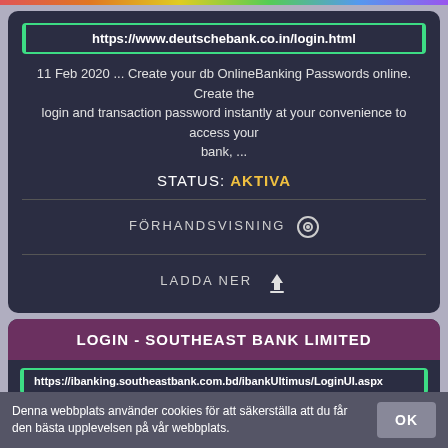https://www.deutschebank.co.in/login.html
11 Feb 2020 ... Create your db OnlineBanking Passwords online. Create the login and transaction password instantly at your convenience to access your bank, ...
STATUS: AKTIVA
FÖRHANDSVISNING 👁
LADDA NER ⬇
LOGIN - SOUTHEAST BANK LIMITED
https://ibanking.southeastbank.com.bd/ibankUltimus/LoginUI.aspx
Account Detail View. A/C Statement View/Download. Transaction Details. Credit Card Info. Detail View. Fund Transfer(Local/BEFTN/RTGS). Mobile
Denna webbplats använder cookies för att säkerställa att du får den bästa upplevelsen på vår webbplats.
OK